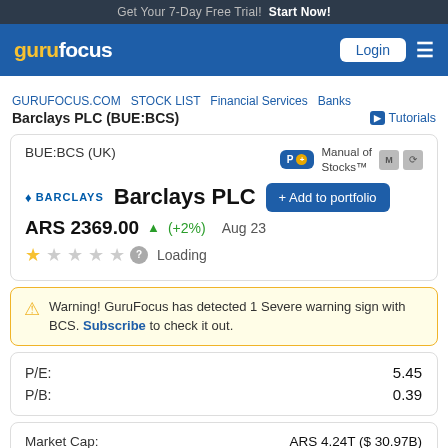Get Your 7-Day Free Trial! Start Now!
[Figure (logo): GuruFocus navigation bar with logo, Login button, and menu icon]
GURUFOCUS.COM   STOCK LIST   Financial Services   Banks
Barclays PLC (BUE:BCS)   Tutorials
| Field | Value |
| --- | --- |
| BUE:BCS (UK) | Manual of Stocks™ |
| P/E: | 5.45 |
| P/B: | 0.39 |
| Market Cap: | ARS 4.24T ($ 30.97B) |
| Enterprise V: | ARS -20.72T ($ -151.28B) |
Barclays PLC
ARS 2369.00 (+2%) Aug 23
Warning! GuruFocus has detected 1 Severe warning sign with BCS. Subscribe to check it out.